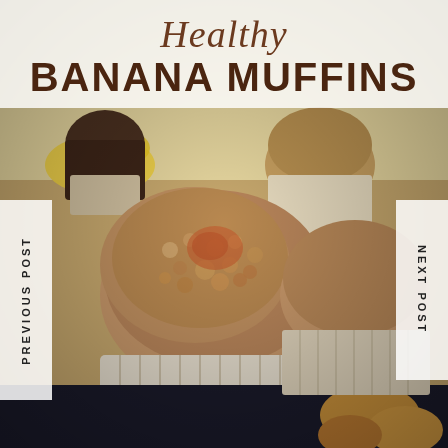[Figure (photo): Close-up photograph of healthy banana muffins in paper liners, stacked and arranged with bananas visible in the background. The muffins have a golden-brown oat-topped surface. Lower portion shows additional muffins and baked goods in a darker setting.]
Healthy BANANA MUFFINS
PREVIOUS POST
NEXT POST